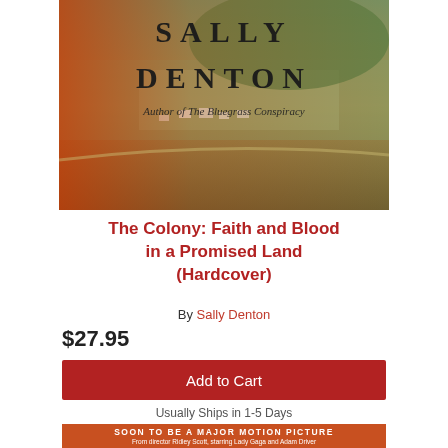[Figure (illustration): Book cover of 'The Colony: Faith and Blood in a Promised Land' by Sally Denton. Shows an aerial photograph of a rural settlement with text 'SALLY DENTON' and 'Author of The Bluegrass Conspiracy' overlaid on an orange-red gradient background.]
The Colony: Faith and Blood in a Promised Land (Hardcover)
By Sally Denton
$27.95
Add to Cart
Usually Ships in 1-5 Days
SOON TO BE A MAJOR MOTION PICTURE
From director Ridley Scott, starring Lady Gaga and Adam Driver